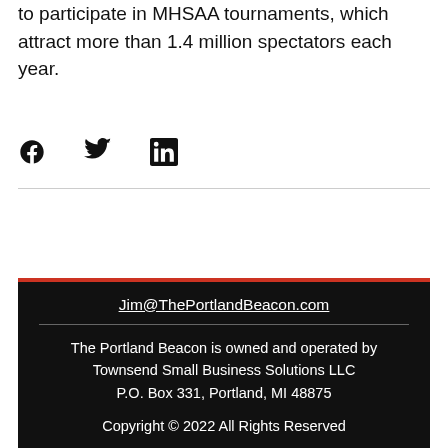to participate in MHSAA tournaments, which attract more than 1.4 million spectators each year.
[Figure (illustration): Social media share icons: Facebook (f), Twitter (bird), LinkedIn (in)]
Jim@ThePortlandBeacon.com
The Portland Beacon is owned and operated by Townsend Small Business Solutions LLC
P.O. Box 331, Portland, MI 48875
Copyright © 2022 All Rights Reserved